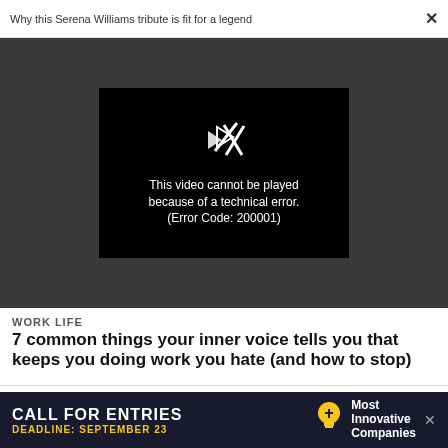Why this Serena Williams tribute is fit for a legend
[Figure (screenshot): Video player showing error message: 'This video cannot be played because of a technical error. (Error Code: 200001)' with a broken play button icon on a black background, embedded in a dark gray video section.]
WORK LIFE
7 common things your inner voice tells you that keeps you doing work you hate (and how to stop)
Advertise  |  Privacy Policy  |  Terms  |
Notice of Collection  |  Do Not Sell My Data  |  Permissions  |  Help
[Figure (infographic): Advertisement banner: CALL FOR ENTRIES - DEADLINE: SEPTEMBER 23 - Most Innovative Companies, with lightbulb icon. Dark navy background with white and yellow text.]